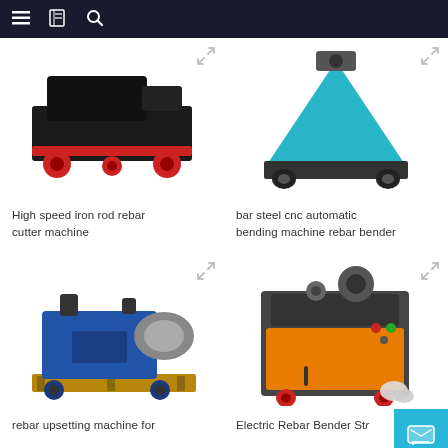Navigation bar with menu, catalog, and search icons
[Figure (photo): High speed iron rod rebar cutter machine on red wheels, black frame]
High speed iron rod rebar cutter machine
[Figure (photo): Bar steel CNC automatic bending machine rebar bender, teal/blue colored machine with black wheels]
bar steel cnc automatic bending machine rebar bender
[Figure (photo): Rebar upsetting machine for construction, blue industrial machine on wooden pallet]
rebar upsetting machine for
[Figure (photo): Electric Rebar Bender Straightener machine, grey and orange cabinet with red wheels]
Electric Rebar Bender Str